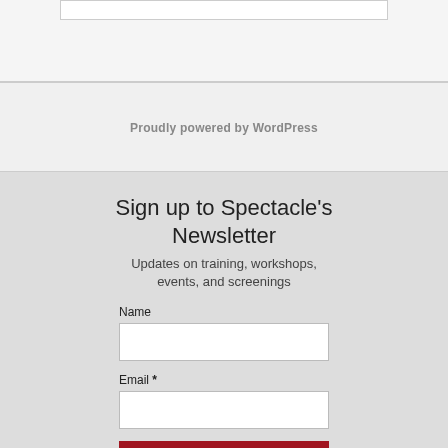Proudly powered by WordPress
Sign up to Spectacle's Newsletter
Updates on training, workshops, events, and screenings
Name
Email *
SUBSCRIBE